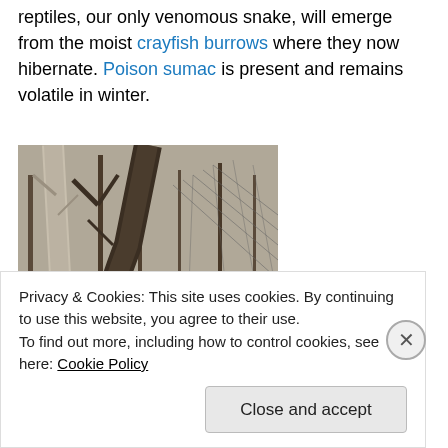reptiles, our only venomous snake, will emerge from the moist crayfish burrows where they now hibernate. Poison sumac is present and remains volatile in winter.
[Figure (photo): Photograph of bare winter trees in a forest with exposed roots and leaf-covered ground]
Privacy & Cookies: This site uses cookies. By continuing to use this website, you agree to their use.
To find out more, including how to control cookies, see here: Cookie Policy
Close and accept